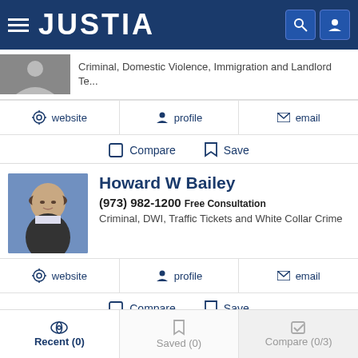JUSTIA
Criminal, Domestic Violence, Immigration and Landlord Te...
website   profile   email
Compare   Save
Howard W Bailey
(973) 982-1200 Free Consultation
Criminal, DWI, Traffic Tickets and White Collar Crime
website   profile   email
Compare   Save
Dmitriy Shakhnevich
Recent (0)   Saved (0)   Compare (0/3)